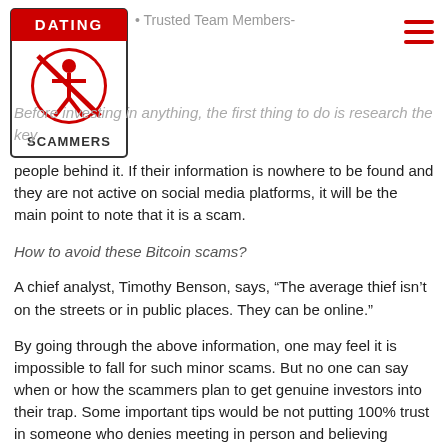Dating Scammers logo and navigation
Trusted Team Members-
Before investing in anything, the first thing to do is research the key people behind it. If their information is nowhere to be found and they are not active on social media platforms, it will be the main point to note that it is a scam.
How to avoid these Bitcoin scams?
A chief analyst, Timothy Benson, says, "The average thief isn't on the streets or in public places. They can be online."
By going through the above information, one may feel it is impossible to fall for such minor scams. But no one can say when or how the scammers plan to get genuine investors into their trap. Some important tips would be not putting 100% trust in someone who denies meeting in person and believing anything just because they are claiming to double the money.
What to do if targeted by scammers?
If an individual becomes the victim, they should immediately report to